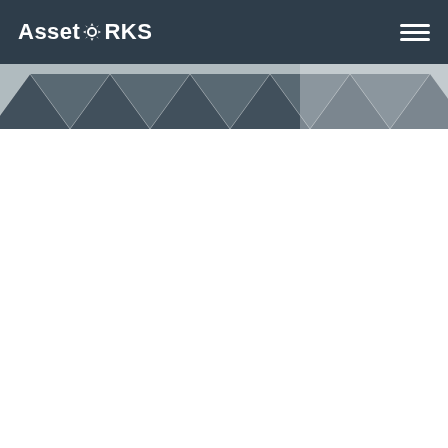AssetWORKS
[Figure (photo): Decorative banner image showing a geometric chevron/diamond tile pattern in dark navy and white, creating a repeating zigzag or arrow pattern viewed from above.]